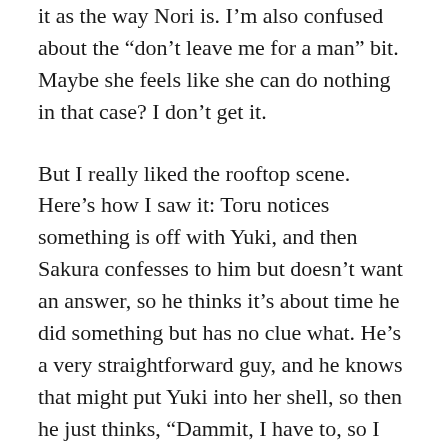it as the way Nori is. I'm also confused about the “don’t leave me for a man” bit. Maybe she feels like she can do nothing in that case? I don’t get it.
But I really liked the rooftop scene. Here’s how I saw it: Toru notices something is off with Yuki, and then Sakura confesses to him but doesn’t want an answer, so he thinks it’s about time he did something but has no clue what. He’s a very straightforward guy, and he knows that might put Yuki into her shell, so then he just thinks, “Dammit, I have to, so I may as well now.” That’s why the grab-pull-turned out so awkwardly. Then they talk about Sakura, and Yuki being herself can’t really bring herself to talk about herself